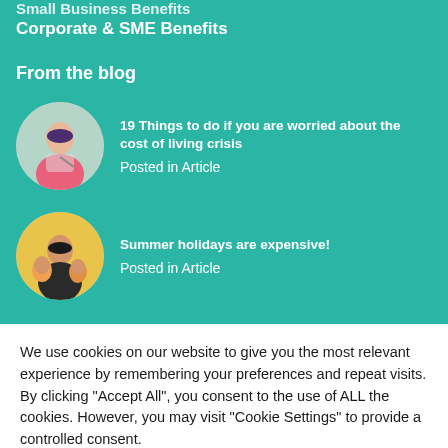Small Business Benefits
Corporate & SME Benefits
From the blog
[Figure (photo): Circular thumbnail photo of a woman in a pink top writing/taking notes]
19 Things to do if you are worried about the cost of living crisis
Posted in Article
[Figure (photo): Circular thumbnail photo of a woman with children]
Summer holidays are expensive!
Posted in Article
We use cookies on our website to give you the most relevant experience by remembering your preferences and repeat visits. By clicking "Accept All", you consent to the use of ALL the cookies. However, you may visit "Cookie Settings" to provide a controlled consent.
Cookie Settings
Accept All